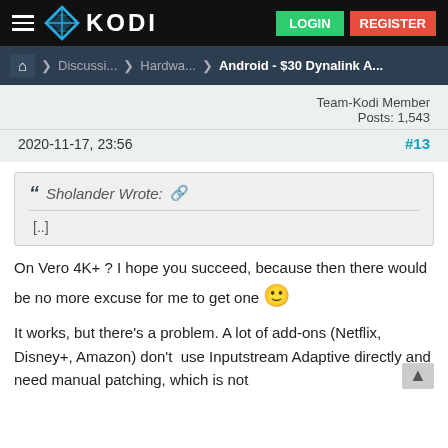KODI — LOGIN | REGISTER
Home > Discussi... > Hardwa... > Android - $30 Dynalink A...
Team-Kodi Member
Posts: 1,543
2020-11-17, 23:56	#13
" Sholander Wrote: [external link]
[..]
On Vero 4K+ ? I hope you succeed, because then there would be no more excuse for me to get one 🙂
It works, but there's a problem. A lot of add-ons (Netflix, Disney+, Amazon) don't  use Inputstream Adaptive directly and need manual patching, which is not